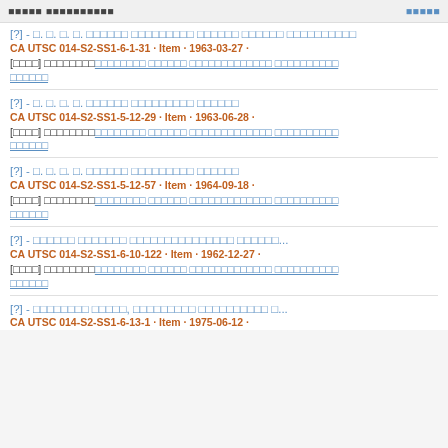[header navigation bar with title and link]
CA UTSC 014-S2-SS1-6-1-31 · Item · 1963-03-27
[?] - □. □. □. □. □□□□□□ □□□□□□□□□ □□□□□□ | CA UTSC 014-S2-SS1-5-12-29 · Item · 1963-06-28
[?] - □. □. □. □. □□□□□□ □□□□□□□□□ □□□□□□ | CA UTSC 014-S2-SS1-5-12-57 · Item · 1964-09-18
[?] - □□□□□□ □□□□□□□ □□□□□□□□□□□□□□□ □□□□□□... | CA UTSC 014-S2-SS1-6-10-122 · Item · 1962-12-27
[?] - □□□□□□□□ □□□□□, □□□□□□□□□ □□□□□□□□□□ □... | CA UTSC 014-S2-SS1-6-13-1 · Item · 1975-06-12